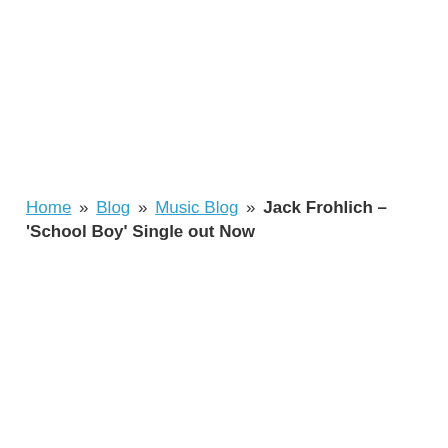Home » Blog » Music Blog » Jack Frohlich – 'School Boy' Single out Now